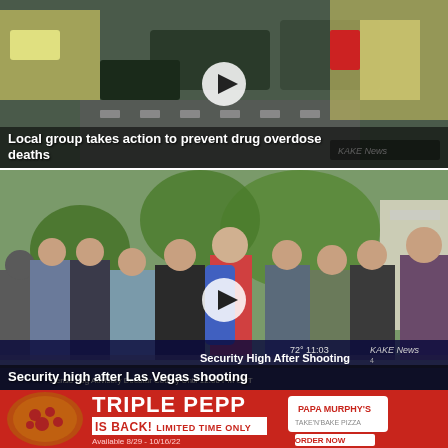[Figure (screenshot): Video thumbnail showing hands holding what appears to be medication/Narcan with cars in background. Play button overlay. KAKE News logo visible. Caption: Local group takes action to prevent drug overdose deaths]
[Figure (screenshot): Video thumbnail showing crowd of people outside in a plaza/resort area. Play button overlay. Lower-third graphic reads 'Security High After Shooting' with KAKE News logo. Caption: Security high after Las Vegas shooting]
[Figure (screenshot): Papa Murphy's advertisement banner. Triple Pepp Is Back! Limited Time Only. Available 8/29 - 10/16/22. Order Now.]